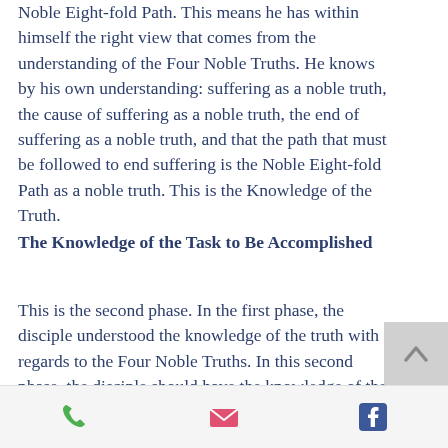Noble Eight-fold Path. This means he has within himself the right view that comes from the understanding of the Four Noble Truths. He knows by his own understanding: suffering as a noble truth, the cause of suffering as a noble truth, the end of suffering as a noble truth, and that the path that must be followed to end suffering is the Noble Eight-fold Path as a noble truth. This is the Knowledge of the Truth.
The Knowledge of the Task to Be Accomplished
This is the second phase. In the first phase, the disciple understood the knowledge of the truth with regards to the Four Noble Truths. In this second phase, the disciple should have the knowledge of the task to be accomplished with regard to each noble truth. He understands that the noble truth of suffering is to be fully
phone | email | facebook